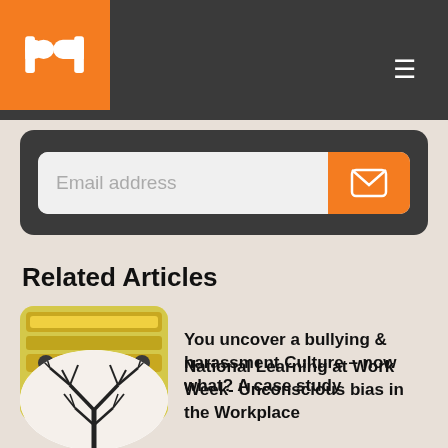bd logo and hamburger navigation
Email address
Related Articles
[Figure (photo): Thumbnail image for bullying and harassment article — shows a yellow infographic-style image with icons and text]
You uncover a bullying & harassment Culture – now what? A case study
[Figure (photo): Black and white illustration of a bare tree with branches for National Learning at Work Week article]
National Learning at Work Week- Unconscious bias in the Workplace